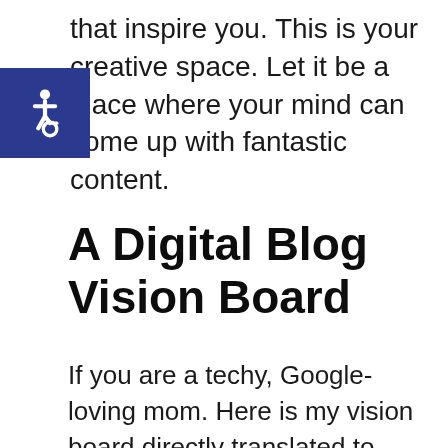that inspire you. This is your creative space. Let it be a place where your mind can come up with fantastic content.
[Figure (illustration): Accessibility icon (wheelchair symbol) in white on a dark blue/navy square background, positioned at the left side overlapping the introductory text.]
A Digital Blog Vision Board
If you are a techy, Google-loving mom. Here is my vision board directly translated to Google Docs! Apply the Lean Six Sigma engineering tactics to planning your blog efficiently and effectively.